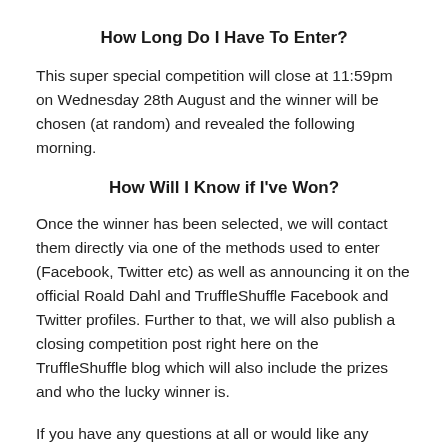How Long Do I Have To Enter?
This super special competition will close at 11:59pm on Wednesday 28th August and the winner will be chosen (at random) and revealed the following morning.
How Will I Know if I've Won?
Once the winner has been selected, we will contact them directly via one of the methods used to enter (Facebook, Twitter etc) as well as announcing it on the official Roald Dahl and TruffleShuffle Facebook and Twitter profiles. Further to that, we will also publish a closing competition post right here on the TruffleShuffle blog which will also include the prizes and who the lucky winner is.
If you have any questions at all or would like any advice,